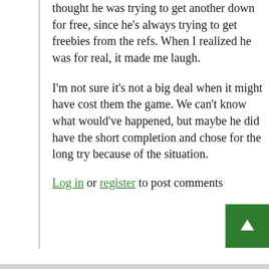thought he was trying to get another down for free, since he's always trying to get freebies from the refs. When I realized he was for real, it made me laugh.
I'm not sure it's not a big deal when it might have cost them the game. We can't know what would've happened, but maybe he did have the short completion and chose for the long try because of the situation.
Log in or register to post comments
8  Seriously.  He totally...
by Lost Ti-Cats Fan // Oct 10, 2020 - 3:43pm